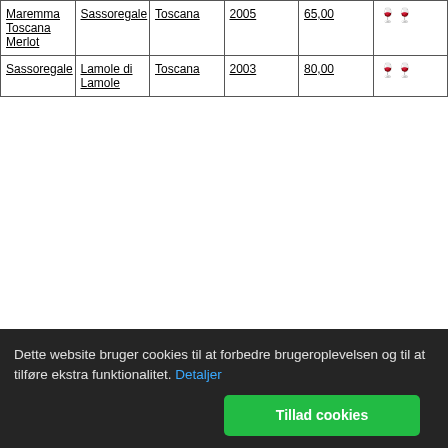| Maremma Toscana Merlot | Sassoregale | Toscana | 2005 | 65,00 | 🍷🍷 |
| Sassoregale | Lamole di Lamole | Toscana | 2003 | 80,00 | 🍷🍷 |
Dette website bruger cookies til at forbedre brugeroplevelsen og til at tilføre ekstra funktionalitet. Detaljer